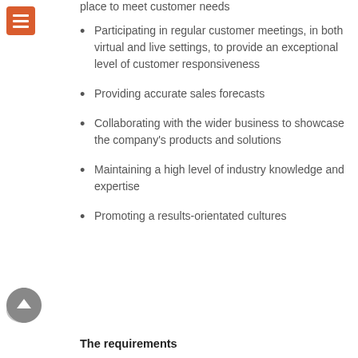place to meet customer needs
Participating in regular customer meetings, in both virtual and live settings, to provide an exceptional level of customer responsiveness
Providing accurate sales forecasts
Collaborating with the wider business to showcase the company's products and solutions
Maintaining a high level of industry knowledge and expertise
Promoting a results-orientated cultures
The requirements